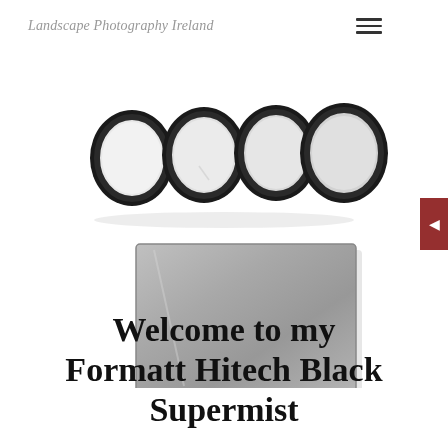Landscape Photography Ireland
[Figure (photo): Four circular screw-on camera lens filters arranged in a row (top), and one large rectangular square filter below them, all on a white background. The filters appear to be neutral density or mist filters with dark metallic rings.]
Welcome to my Formatt Hitech Black Supermist